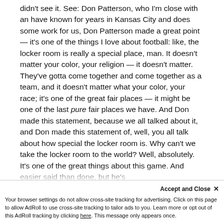didn't see it. See: Don Patterson, who I'm close with an have known for years in Kansas City and does some work for us, Don Patterson made a great point — it's one of the things I love about football: like, the locker room is really a special place, man. It doesn't matter your color, your religion — it doesn't matter. They've gotta come together and come together as a team, and it doesn't matter what your color, your race; it's one of the great fair places — it might be one of the last pure fair places we have. And Don made this statement, because we all talked about it, and Don made this statement of, well, you all talk about how special the locker room is. Why can't we take the locker room to the world? Well, absolutely. It's one of the great things about this game. And easier said than done, but he's
Accept and Close ✕
Your browser settings do not allow cross-site tracking for advertising. Click on this page to allow AdRoll to use cross-site tracking to tailor ads to you. Learn more or opt out of this AdRoll tracking by clicking here. This message only appears once.